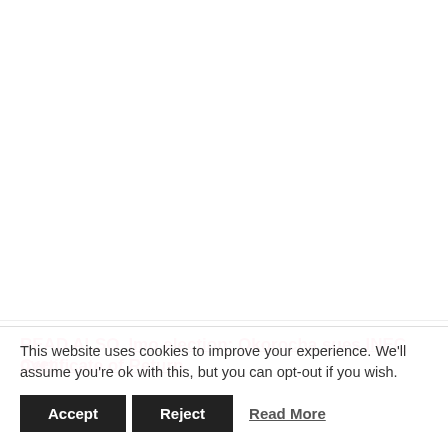READ ALSO  Imo election: Okorocha sues INEC over Certificate of Return
This website uses cookies to improve your experience. We'll assume you're ok with this, but you can opt-out if you wish.
Accept   Reject   Read More